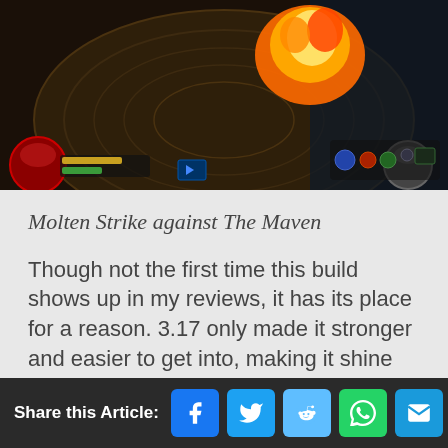[Figure (screenshot): Game screenshot showing Molten Strike skill against The Maven boss in Path of Exile, with fire explosion effect visible, game HUD elements including health orb and minimap]
Molten Strike against The Maven
Though not the first time this build shows up in my reviews, it has its place for a reason. 3.17 only made it stronger and easier to get into, making it shine further and demolish the content!
What Hybrid's Molten Strike Jugg Excels in:
Share this Article: